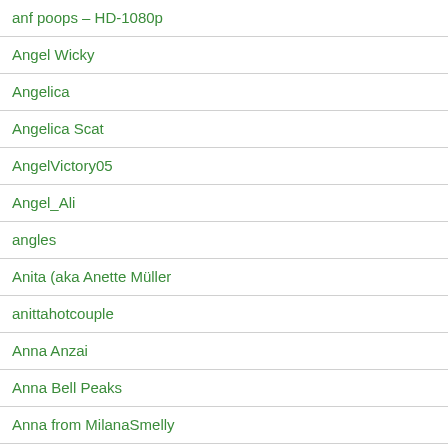anf poops – HD-1080p
Angel Wicky
Angelica
Angelica Scat
AngelVictory05
Angel_Ali
angles
Anita (aka Anette Müller
anittahotcouple
Anna Anzai
Anna Bell Peaks
Anna from MilanaSmelly